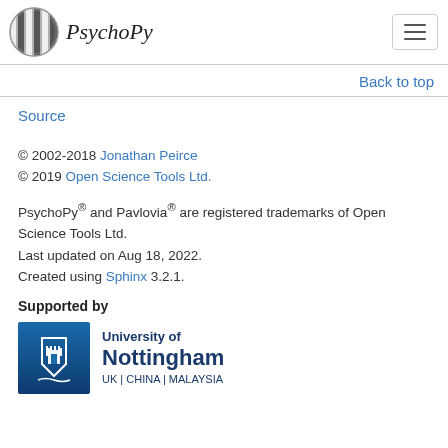PsychoPy
Back to top
Source
© 2002-2018 Jonathan Peirce
© 2019 Open Science Tools Ltd.
PsychoPy® and Pavlovia® are registered trademarks of Open Science Tools Ltd.
Last updated on Aug 18, 2022.
Created using Sphinx 3.2.1.
Supported by
[Figure (logo): University of Nottingham logo with shield icon on blue background. Text reads: University of Nottingham, UK | CHINA | MALAYSIA]